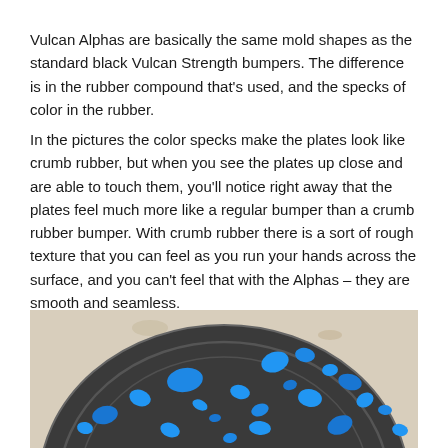Vulcan Alphas are basically the same mold shapes as the standard black Vulcan Strength bumpers. The difference is in the rubber compound that's used, and the specks of color in the rubber.
In the pictures the color specks make the plates look like crumb rubber, but when you see the plates up close and are able to touch them, you'll notice right away that the plates feel much more like a regular bumper than a crumb rubber bumper. With crumb rubber there is a sort of rough texture that you can feel as you run your hands across the surface, and you can't feel that with the Alphas – they are smooth and seamless.
[Figure (photo): Close-up photo of a dark gray/black rubber bumper plate with bright blue color specks/spots scattered across its surface, viewed from above at an angle. The plate is sitting on a light beige/concrete surface.]